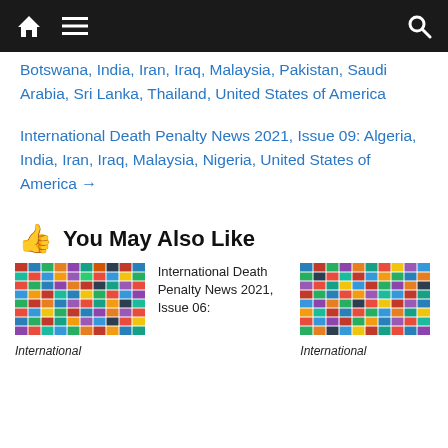Navigation bar with home, menu, and search icons
Botswana, India, Iran, Iraq, Malaysia, Pakistan, Saudi Arabia, Sri Lanka, Thailand, United States of America
International Death Penalty News 2021, Issue 09: Algeria, India, Iran, Iraq, Malaysia, Nigeria, United States of America →
👍 You May Also Like
[Figure (photo): Grid of world country flags]
International Death Penalty News 2021, Issue 06:
International
[Figure (photo): Grid of world country flags]
International